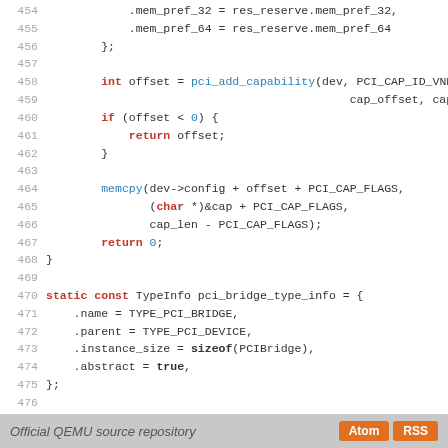Source code listing lines 454-482 of QEMU pci-bridge source
Official QEMU source repository  Atom  RSS